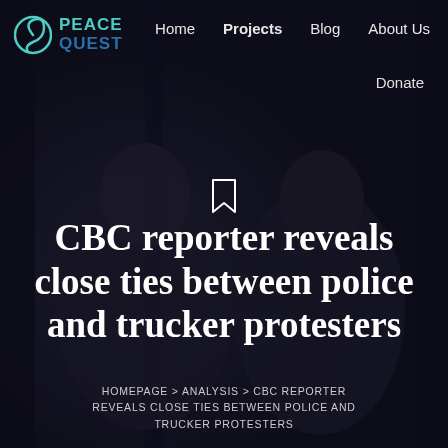[Figure (photo): Dark background photo of two people (appearing to be women) in low light, used as a hero image for the article header]
Home   Projects   Blog   About Us
[Figure (logo): PeaceQuest logo with spiral icon in teal/green and text PEACE QUEST in teal and blue]
Donate
CBC reporter reveals close ties between police and trucker protesters
HOMEPAGE > ANALYSIS > CBC REPORTER REVEALS CLOSE TIES BETWEEN POLICE AND TRUCKER PROTESTERS